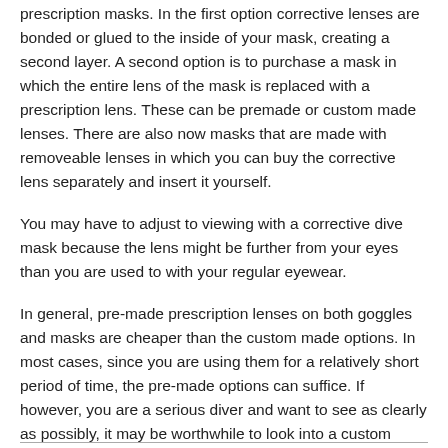mask with a prescription lens. There are a few options for prescription masks. In the first option corrective lenses are bonded or glued to the inside of your mask, creating a second layer. A second option is to purchase a mask in which the entire lens of the mask is replaced with a prescription lens. These can be premade or custom made lenses. There are also now masks that are made with removeable lenses in which you can buy the corrective lens separately and insert it yourself.
You may have to adjust to viewing with a corrective dive mask because the lens might be further from your eyes than you are used to with your regular eyewear.
In general, pre-made prescription lenses on both goggles and masks are cheaper than the custom made options. In most cases, since you are using them for a relatively short period of time, the pre-made options can suffice. If however, you are a serious diver and want to see as clearly as possibly, it may be worthwhile to look into a custom made mask.